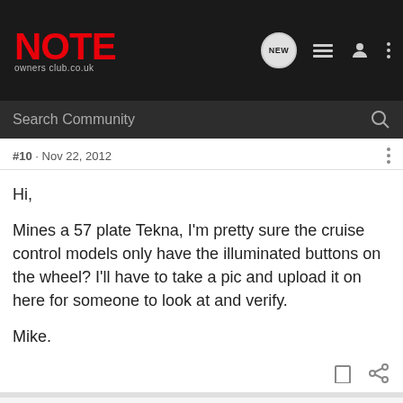[Figure (screenshot): NOTE owners club .co.uk website header with logo and navigation icons]
Search Community
#10 · Nov 22, 2012
Hi,

Mines a 57 plate Tekna, I'm pretty sure the cruise control models only have the illuminated buttons on the wheel? I'll have to take a pic and upload it on here for someone to look at and verify.

Mike.
mnl · Registered 🇬🇧
Joined Apr 9, 2012 · 2,030 Posts